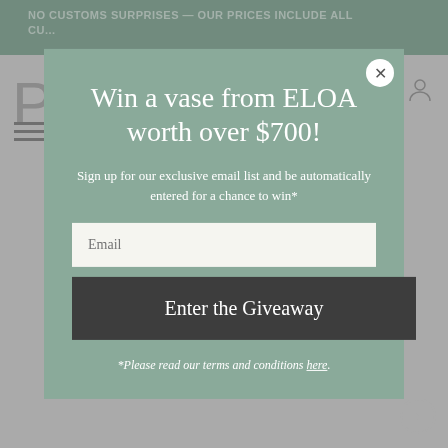NO CUSTOMS SURPRISES — OUR PRICES INCLUDE ALL CU...
Win a vase from ELOA worth over $700!
Sign up for our exclusive email list and be automatically entered for a chance to win*
Email
Enter the Giveaway
*Please read our terms and conditions here.